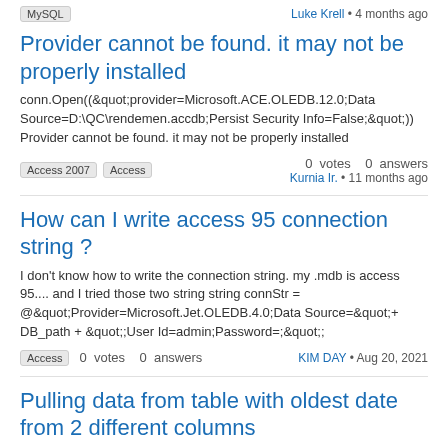MySQL   Luke Krell • 4 months ago
Provider cannot be found. it may not be properly installed
conn.Open((&quot;provider=Microsoft.ACE.OLEDB.12.0;Data Source=D:\QC\rendemen.accdb;Persist Security Info=False;&quot;)) Provider cannot be found. it may not be properly installed
Access 2007   Access   0 votes   0 answers   Kurnia Ir. • 11 months ago
How can I write access 95 connection string ?
I don't know how to write the connection string. my .mdb is access 95.... and I tried those two string string connStr = @&quot;Provider=Microsoft.Jet.OLEDB.4.0;Data Source=&quot;+ DB_path + &quot;;User Id=admin;Password=;&quot;;
Access   0 votes   0 answers   KIM DAY • Aug 20, 2021
Pulling data from table with oldest date from 2 different columns
I have a single table with multiple clients who have 2 services that need to be compared via date. One services is a MUST and the other has 5 other possibilities.